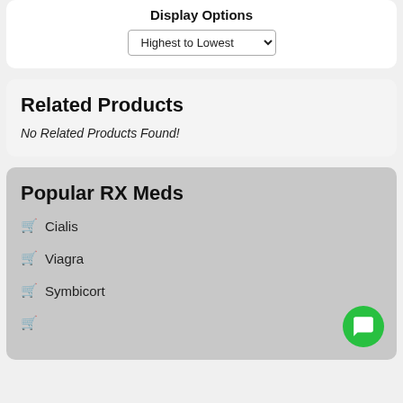Display Options
Highest to Lowest
Related Products
No Related Products Found!
Popular RX Meds
Cialis
Viagra
Symbicort